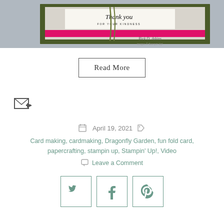[Figure (photo): Photo of a handmade thank you card with dark olive green and hot pink colors, with 'Thank you FOR YOUR KINDNESS' text, ribbon, decorative floral paper, and signature 'Rick D. Atkins']
Read More
[Figure (other): Email/forward icon: small envelope with arrow]
April 19, 2021
Card making, cardmaking, Dragonfly Garden, fun fold card, papercrafting, stampin up, Stampin' Up!, Video
Leave a Comment
[Figure (other): Twitter share button icon]
[Figure (other): Facebook share button icon]
[Figure (other): Pinterest share button icon]